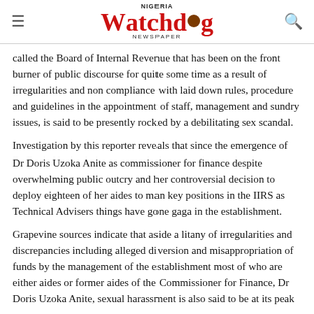Nigeria Watchdog Newspaper
called the Board of Internal Revenue that has been on the front burner of public discourse for quite some time as a result of irregularities and non compliance with laid down rules, procedure and guidelines in the appointment of staff, management and sundry issues, is said to be presently rocked by a debilitating sex scandal.
Investigation by this reporter reveals that since the emergence of Dr Doris Uzoka Anite as commissioner for finance despite overwhelming public outcry and her controversial decision to deploy eighteen of her aides to man key positions in the IIRS as Technical Advisers things have gone gaga in the establishment.
Grapevine sources indicate that aside a litany of irregularities and discrepancies including alleged diversion and misappropriation of funds by the management of the establishment most of who are either aides or former aides of the Commissioner for Finance, Dr Doris Uzoka Anite, sexual harassment is also said to be at its peak